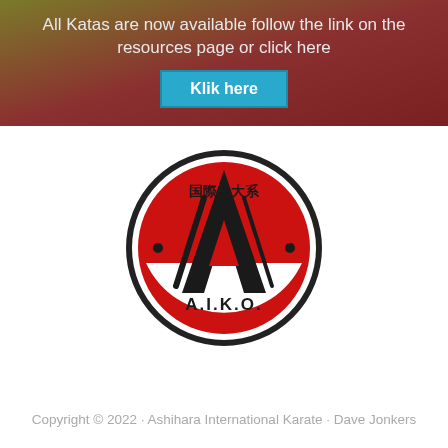All Katas are now available follow the link on the resources page or click here
Klik here
[Figure (logo): A.I.K.O. circular logo: red circle with black border, stylized letter A with sword/brush strokes, Japanese kanji text at top, dots on sides, 'A.I.K.O.' text at bottom]
Copyright © 2022 · Ashihara International Karate · Dave Jonkers